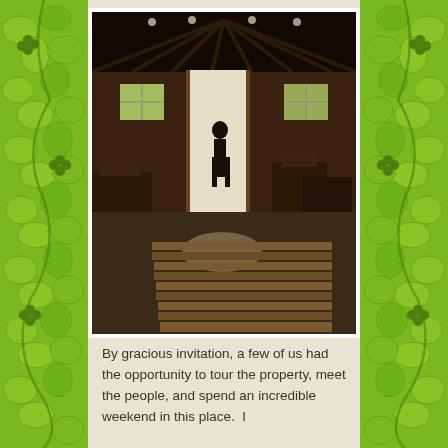[Figure (photo): Interior of an old barn with wooden beam ceiling, a person silhouetted in a bright open doorway, windows on left and right walls, wooden furniture and boxes on the sides, and lumber planks stacked on the concrete floor in the foreground.]
By gracious invitation, a few of us had the opportunity to tour the property, meet the people, and spend an incredible weekend in this place.  I